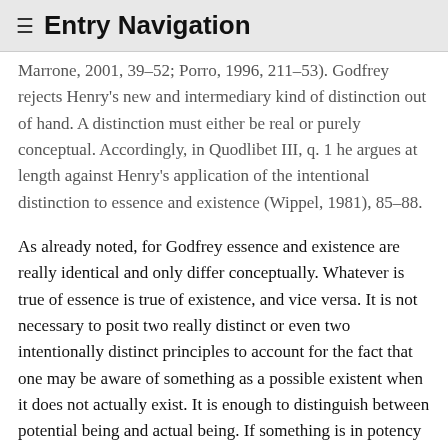≡ Entry Navigation
Marrone, 2001, 39–52; Porro, 1996, 211–53). Godfrey rejects Henry's new and intermediary kind of distinction out of hand. A distinction must either be real or purely conceptual. Accordingly, in Quodlibet III, q. 1 he argues at length against Henry's application of the intentional distinction to essence and existence (Wippel, 1981), 85–88.
As already noted, for Godfrey essence and existence are really identical and only differ conceptually. Whatever is true of essence is true of existence, and vice versa. It is not necessary to posit two really distinct or even two intentionally distinct principles to account for the fact that one may be aware of something as a possible existent when it does not actually exist. It is enough to distinguish between potential being and actual being. If something is in potency in terms of its essence, it is in potency in terms of its existence. And if it is actual in terms of its essence, it is actual in terms of its existence.
Godfrey proposes a different kind of act-potency ...